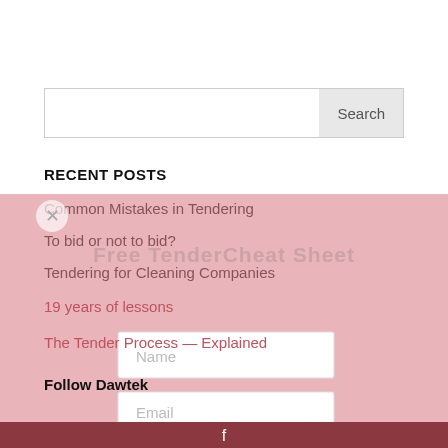Search
RECENT POSTS
Common Mistakes in Tendering
To bid or not to bid?
Tendering for Cleaning Companies
19 years of lessons
The Tender Process — Explained
[Figure (screenshot): Popup overlay with 'Free Tender Cheat Sheet' title, Name and Email input fields on pink/red background]
Follow Dawtek